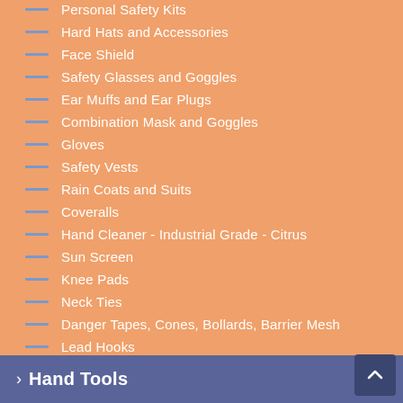Personal Safety Kits
Hard Hats and Accessories
Face Shield
Safety Glasses and Goggles
Ear Muffs and Ear Plugs
Combination Mask and Goggles
Gloves
Safety Vests
Rain Coats and Suits
Coveralls
Hand Cleaner - Industrial Grade - Citrus
Sun Screen
Knee Pads
Neck Ties
Danger Tapes, Cones, Bollards, Barrier Mesh
Lead Hooks
Safety Signs and Site Signs
Roofers Harness Kit
Hand Tools